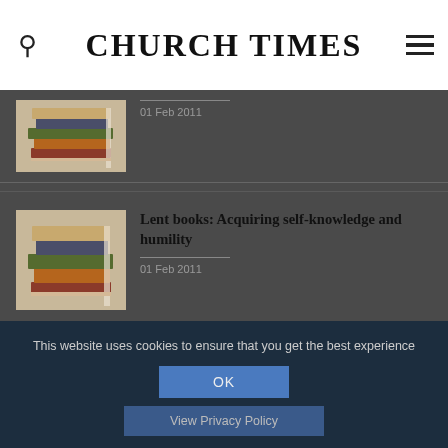CHURCH TIMES
[Figure (photo): Stack of books thumbnail]
01 Feb 2011
[Figure (photo): Stack of books thumbnail]
Lent books: Acquiring self-knowledge and humility
01 Feb 2011
[Figure (photo): Stack of books thumbnail]
Lent books: Rest in the Lord and learn to let go
This website uses cookies to ensure that you get the best experience